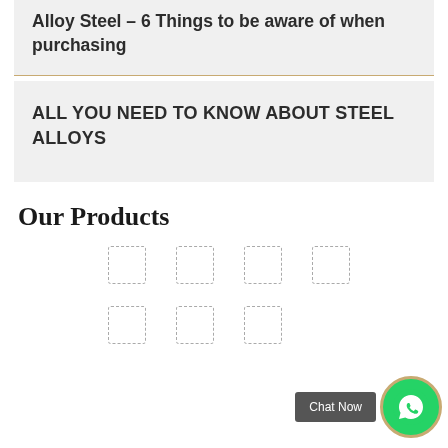Alloy Steel – 6 Things to be aware of when purchasing
ALL YOU NEED TO KNOW ABOUT STEEL ALLOYS
Our Products
[Figure (other): Grid of 7 product image placeholder boxes (4 in top row, 3 in bottom row) with dashed borders]
[Figure (other): Chat Now button and WhatsApp icon button in bottom right corner]